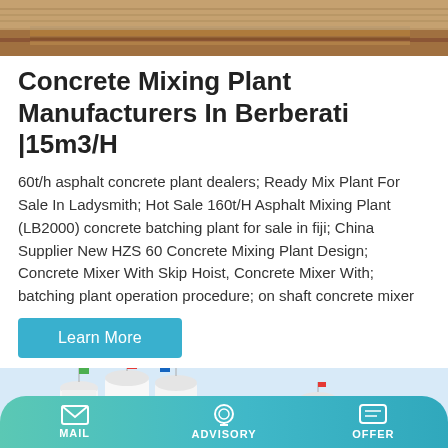[Figure (photo): Top portion of a flatbed truck/trailer carrying heavy equipment, photographed from the side, with warm brown/orange tones.]
Concrete Mixing Plant Manufacturers In Berberati |15m3/H
60t/h asphalt concrete plant dealers; Ready Mix Plant For Sale In Ladysmith; Hot Sale 160t/H Asphalt Mixing Plant (LB2000) concrete batching plant for sale in fiji; China Supplier New HZS 60 Concrete Mixing Plant Design; Concrete Mixer With Skip Hoist, Concrete Mixer With; batching plant operation procedure; on shaft concrete mixer
[Figure (photo): Outdoor photo of large white industrial silos/tanks with blue Chinese characters (中交路桥) printed on them, set against a blue sky with mountains in the background. The facility appears to be a concrete batching or mixing plant.]
MAIL   ADVISORY   OFFER